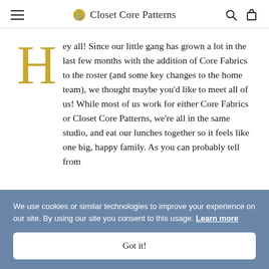Closet Core Patterns
Hey all! Since our little gang has grown a lot in the last few months with the addition of Core Fabrics to the roster (and some key changes to the home team), we thought maybe you'd like to meet all of us! While most of us work for either Core Fabrics or Closet Core Patterns, we're all in the same studio, and eat our lunches together so it feels like one big, happy family. As you can probably tell from
We use cookies or similar technologies to improve your experience on our site. By using our site you consent to this usage. Learn more
Got it!